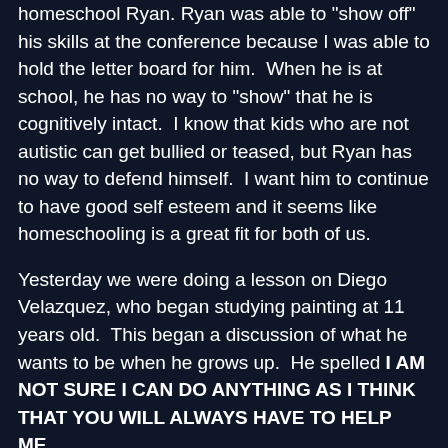homeschool Ryan. Ryan was able to "show off" his skills at the conference because I was able to hold the letter board for him.  When he is at school, he has no way to "show" that he is cognitively intact.  I know that kids who are not autistic can get bullied or teased, but Ryan has no way to defend himself.  I want him to continue to have good self esteem and it seems like homeschooling is a great fit for both of us.
Yesterday we were doing a lesson on Diego Velazquez, who began studying painting at 11 years old.  This began a discussion of what he wants to be when he grows up.  He spelled I AM NOT SURE I CAN DO ANYTHING AS I THINK THAT YOU WILL ALWAYS HAVE TO HELP ME.
I told him that he could do anything that he wanted to do and that we will continue to work on his independence.  I also said that many people work from home so there are opportunities for him that way too.